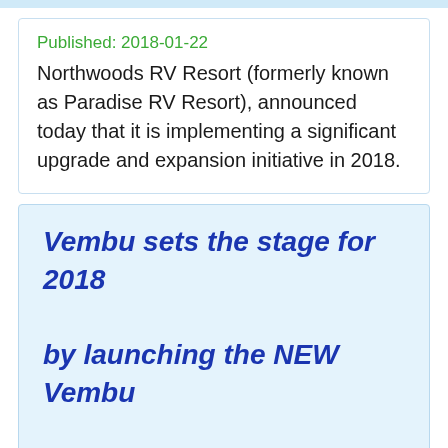Published: 2018-01-22
Northwoods RV Resort (formerly known as Paradise RV Resort), announced today that it is implementing a significant upgrade and expansion initiative in 2018.
Vembu sets the stage for 2018 by launching the NEW Vembu BDR Suite v3.9.0
Published: 2018-01-22   Vembu is pleased to announce the release of